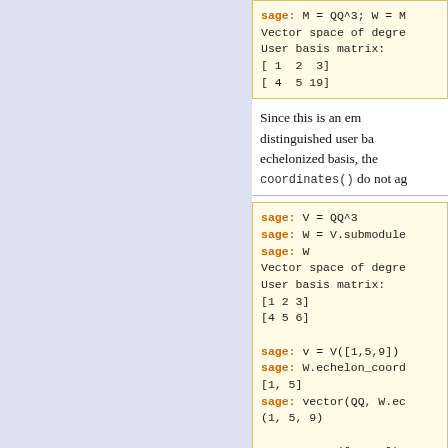[Figure (screenshot): Code block showing sage: M = QQ^3; W = M..., Vector space of degre..., User basis matrix:, [ 1  2  3], [ 4  5 19]]
Since this is an em... distinguished user ba... echelonized basis, the... coordinates() do not ag...
[Figure (screenshot): Code block showing sage: V = QQ^3, sage: W = V.submodule..., sage: W, Vector space of degre..., User basis matrix:, [1 2 3], [4 5 6], sage: v = V([1,5,9]), sage: W.echelon_coord..., [1, 5], sage: vector(QQ, W.ec..., (1, 5, 9), sage: v = V([1,5,9])...]